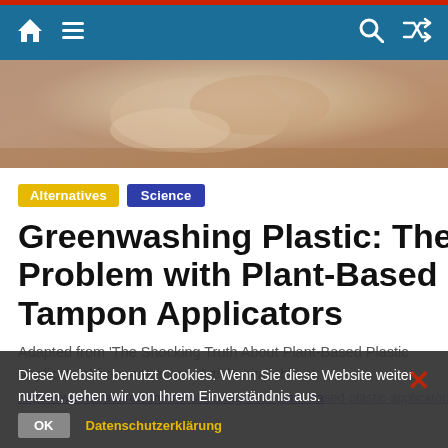Navigation bar with home, menu, search, and shuffle icons
[Figure (photo): Close-up photo of hands, likely holding or examining something, with warm tones]
Alternatives  Science
Greenwashing Plastic: The Problem with Plant-Based Tampon Applicators
Adapted from ‘The Shocking Truth About Plant-Based Plastic Applicators’ from natracare. Article available at: http://www.natracare.com/the-shocking-truth-plant-based-plastic-applicators/
Diese Website benutzt Cookies. Wenn Sie diese Website weiter nutzen, gehen wir von Ihrem Einverständnis aus. OK  Datenschutzerklärung